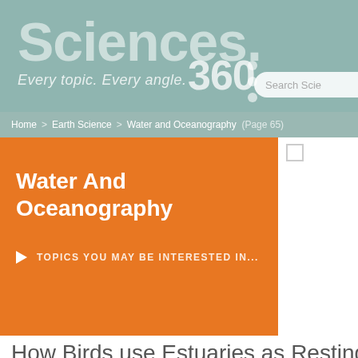Sciences. Every topic. Every angle. 360
Search Scie
Home > Earth Science > Water and Oceanography (Page 65)
Water And Oceanography
TOPICS YOU MAY BE INTERESTED IN...
How Birds use Estuaries as Resting...